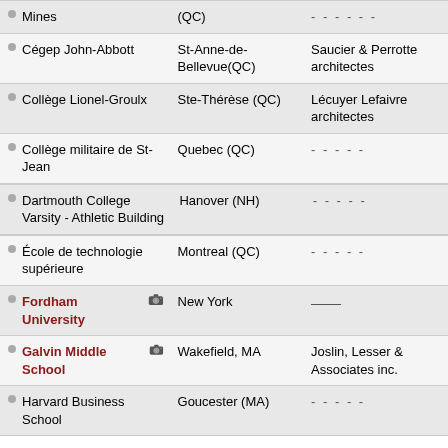| Institution | Location | Architect |
| --- | --- | --- |
| [École de technologie supérieure / Mines (partial)] | (QC) | ----- |
| Cégep John-Abbott | St-Anne-de-Bellevue(QC) | Saucier & Perrotte architectes |
| Collège Lionel-Groulx | Ste-Thérèse (QC) | Lécuyer Lefaivre architectes |
| Collège militaire de St-Jean | Quebec (QC) | ----- |
| Dartmouth College Varsity - Athletic Building | Hanover (NH) | ----- |
| École de technologie supérieure | Montreal (QC) | ----- |
| Fordham University [photo] | New York | —— |
| Galvin Middle School [photo] | Wakefield, MA | Joslin, Lesser & Associates inc. |
| Harvard Business School | Goucester (MA) | ----- |